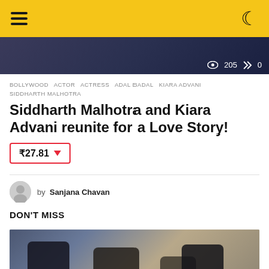Navigation header with hamburger menu and moon icon
[Figure (photo): Partially visible photo of two people, with view count 205 and share count 0 shown in bottom right]
BOLLYWOOD  ACTOR  ACTRESS  ADAL BADAL  KIARA ADVANI  SIDDHARTH MALHOTRA
Siddharth Malhotra and Kiara Advani reunite for a Love Story!
₹27.81 ▼
by Sanjana Chavan
DON'T MISS
[Figure (photo): Group photo of four people (appears to be Korean celebrities) at what seems to be a 2022 press event]